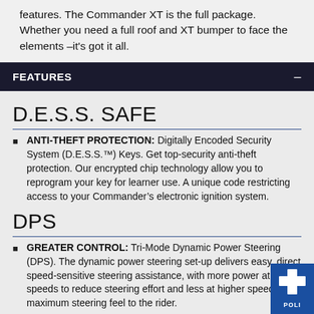features. The Commander XT is the full package. Whether you need a full roof and XT bumper to face the elements –it's got it all.
FEATURES
D.E.S.S. SAFE
ANTI-THEFT PROTECTION: Digitally Encoded Security System (D.E.S.S.™) Keys. Get top-security anti-theft protection. Our encrypted chip technology allow you to reprogram your key for learner use. A unique code restricting access to your Commander's electronic ignition system.
DPS
GREATER CONTROL: Tri-Mode Dynamic Power Steering (DPS). The dynamic power steering set-up delivers easy, direct speed-sensitive steering assistance, with more power at lower speeds to reduce steering effort and less at higher speeds for maximum steering feel to the rider.
INSIDE LOOK